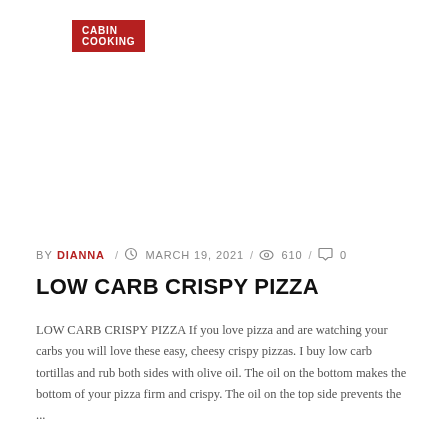CABIN COOKING
BY DIANNA / MARCH 19, 2021 / 610 / 0
LOW CARB CRISPY PIZZA
LOW CARB CRISPY PIZZA If you love pizza and are watching your carbs you will love these easy, cheesy crispy pizzas. I buy low carb tortillas and rub both sides with olive oil. The oil on the bottom makes the bottom of your pizza firm and crispy. The oil on the top side prevents the ...
READ MORE